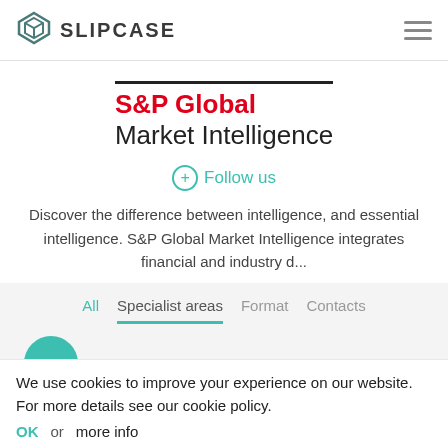SLIPCASE
S&P Global Market Intelligence
+ Follow us
Discover the difference between intelligence, and essential intelligence. S&P Global Market Intelligence integrates financial and industry d...
All  Specialist areas  Format  Contacts
We use cookies to improve your experience on our website. For more details see our cookie policy.
OK  or  more info